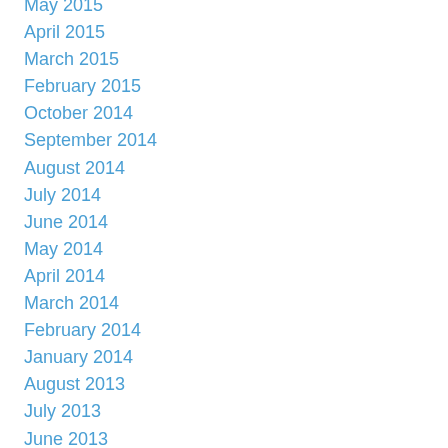May 2015
April 2015
March 2015
February 2015
October 2014
September 2014
August 2014
July 2014
June 2014
May 2014
April 2014
March 2014
February 2014
January 2014
August 2013
July 2013
June 2013
May 2013
April 2013
March 2013
February 2013